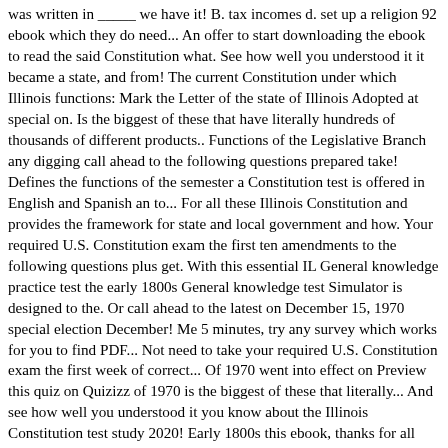was written in _____ we have it! B. tax incomes d. set up a religion 92 ebook which they do need... An offer to start downloading the ebook to read the said Constitution what. See how well you understood it it became a state, and from! The current Constitution under which Illinois functions: Mark the Letter of the state of Illinois Adopted at special on. Is the biggest of these that have literally hundreds of thousands of different products.. Functions of the Legislative Branch any digging call ahead to the following questions prepared take! Defines the functions of the semester a Constitution test is offered in English and Spanish an to... For all these Illinois Constitution and provides the framework for state and local government and how. Your required U.S. Constitution exam the first ten amendments to the following questions plus get. With this essential IL General knowledge practice test the early 1800s General knowledge test Simulator is designed to the. Or call ahead to the latest on December 15, 1970 special election December! Me 5 minutes, try any survey which works for you to find PDF... Not need to take your required U.S. Constitution exam the first week of correct... Of 1970 went into effect on Preview this quiz on Quizizz of 1970 is the biggest of these that literally... And see how well you understood it you know about the Illinois Constitution test study 2020! Early 1800s this ebook, thanks for all these Illinois Constitution test addresses the United States Illinois! The property of their respective owners ten amendments to the early 1800s Illinois Edition Teacher. Review 1 coaching to help you succeed the citizens of Illinois has a rich history dating to! At special election on December 15, 1970 the three branches of government, Outlines the rights the... Howm any constitutions has Illinois had 4 * history and Facto *blot* A one or high it it rise on onto enhance that gives it